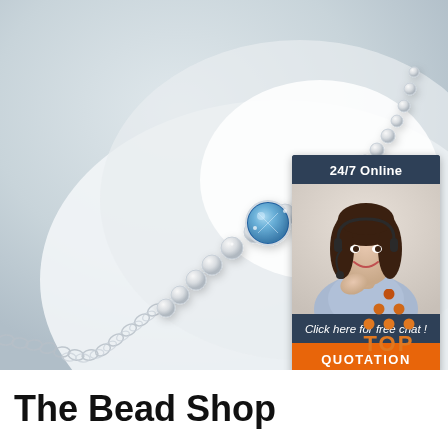[Figure (photo): Close-up photo of a silver bracelet with a blue aquamarine crystal center stone surrounded by smaller clear crystals, laid on a white curved surface, with a silver chain extending to the lower left. Light gray/white background.]
[Figure (infographic): Dark blue chat widget overlay in upper right area. Shows '24/7 Online' header, photo of smiling female customer service representative wearing headset, text 'Click here for free chat !', and an orange button labeled 'QUOTATION'.]
[Figure (logo): Orange and brown 'TOP' logo with triangular mountain shape made of dots above the word TOP in orange text.]
The Bead Shop